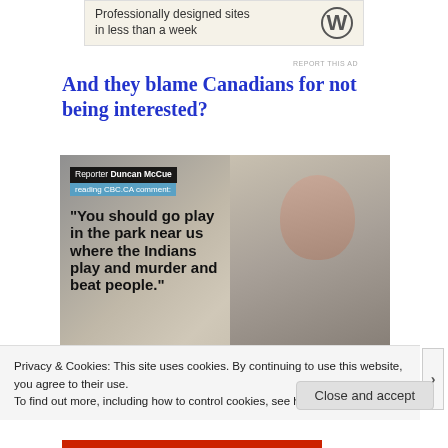[Figure (other): WordPress advertisement banner: 'Professionally designed sites in less than a week' with WordPress logo]
And they blame Canadians for not being interested?
[Figure (screenshot): Video screenshot showing Reporter Duncan McCue reading CBC.CA comment: "You should go play in the park near us where the Indians play and murder and beat people."]
Privacy & Cookies: This site uses cookies. By continuing to use this website, you agree to their use.
To find out more, including how to control cookies, see here: Cookie Policy
Close and accept